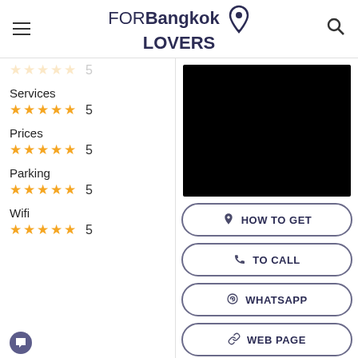FORBangkok LOVERS
Services
5
Prices
5
Parking
5
Wifi
5
[Figure (photo): Black map/image area]
HOW TO GET
TO CALL
WHATSAPP
WEB PAGE